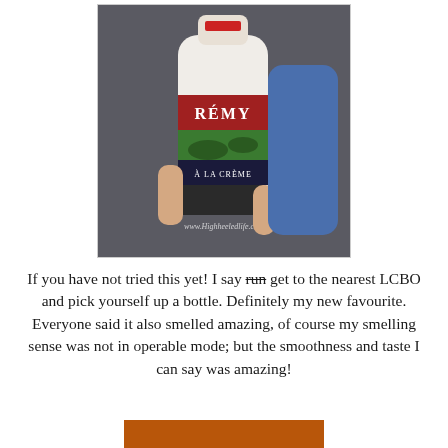[Figure (photo): A hand holding a bottle of Rémy Martin À La Crème liqueur, with a green landscape label and red band reading RÉMY. Watermark reads www.Highheeledlife.com]
If you have not tried this yet! I say run (strikethrough) get to the nearest LCBO and pick yourself up a bottle. Definitely my new favourite. Everyone said it also smelled amazing, of course my smelling sense was not in operable mode; but the smoothness and taste I can say was amazing!
[Figure (photo): Partial image visible at bottom of page, appears to be another product photo]